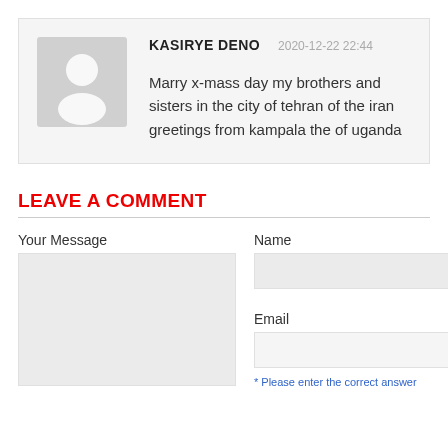KASIRYE DENO  2020-12-22 22:44
Marry x-mass day my brothers and sisters in the city of tehran of the iran greetings from kampala the of uganda
LEAVE A COMMENT
Your Message
Name
Email
* Please enter the correct answer